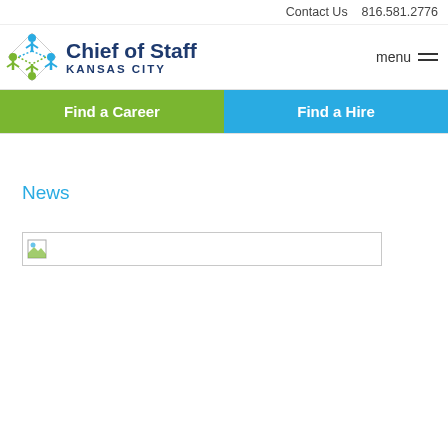Contact Us   816.581.2776
[Figure (logo): Chief of Staff Kansas City logo with colorful diamond/people icon]
Chief of Staff KANSAS CITY
menu
Find a Career
Find a Hire
News
[Figure (photo): Broken/missing image placeholder]